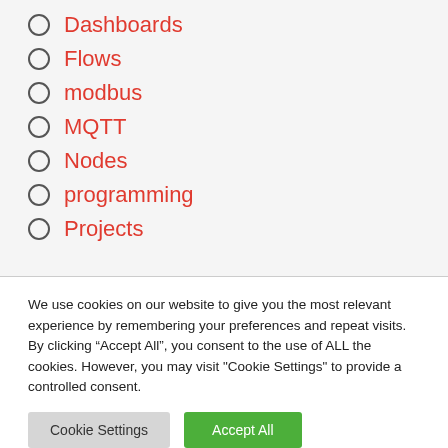Dashboards
Flows
modbus
MQTT
Nodes
programming
Projects
We use cookies on our website to give you the most relevant experience by remembering your preferences and repeat visits. By clicking “Accept All”, you consent to the use of ALL the cookies. However, you may visit "Cookie Settings" to provide a controlled consent.